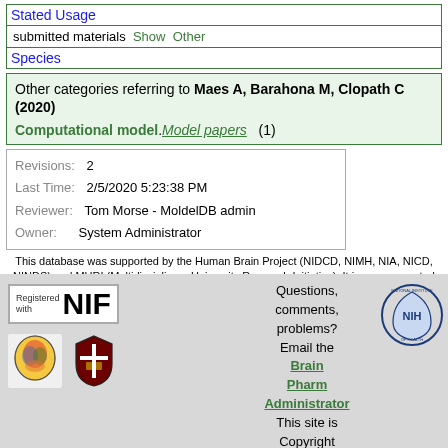Stated Usage
submitted materials  Show  Other
Species
Other categories referring to Maes A, Barahona M, Clopath C (2020)
Computational model.Model papers   (1)
| Field | Value |
| --- | --- |
| Revisions: | 2 |
| Last Time: | 2/5/2020 5:23:38 PM |
| Reviewer: | Tom Morse - MoldelDB admin |
| Owner: | System Administrator |
This database was supported by the Human Brain Project (NIDCD, NIMH, NIA, NICD, NINDS) and MURI (Multidisciplinary University Research Initiative). It is now supported by RO1 DC 009977 from the National Institute for Deafness and other Communication Disorders.
Questions, comments, problems? Email the Brain Pharm Administrator This site is Copyright @1998-2022 Shepherd Lab, Yale University
[Figure (logo): NIF Registered with logo, brain image logo, university shield logo, NIH logo]